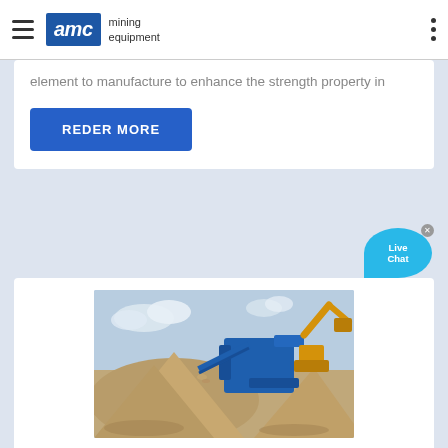AMC mining equipment
element to manufacture to enhance the strength property in
REDER MORE
[Figure (photo): Mining equipment scene with blue crusher/screening machine and excavator, large piles of gravel/crushed stone in foreground, cloudy sky background]
Overview on the Utilization of